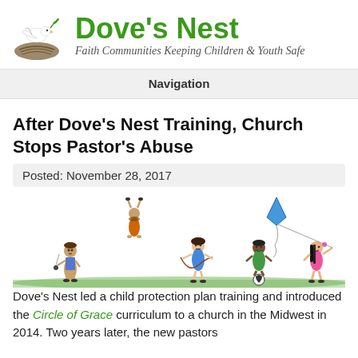[Figure (logo): Dove's Nest logo with dove and nest illustration, followed by site title 'Dove's Nest' in green and tagline 'Faith Communities Keeping Children & Youth Safe']
Navigation
After Dove's Nest Training, Church Stops Pastor's Abuse
Posted: November 28, 2017
[Figure (illustration): Cartoon illustration of five diverse children playing outdoors — one with yo-yo, one doing a handstand, one with jump rope, one with soccer ball, one flying a kite — standing on green grass]
Dove's Nest led a child protection plan training and introduced the Circle of Grace curriculum to a church in the Midwest in 2014. Two years later, the new pastors